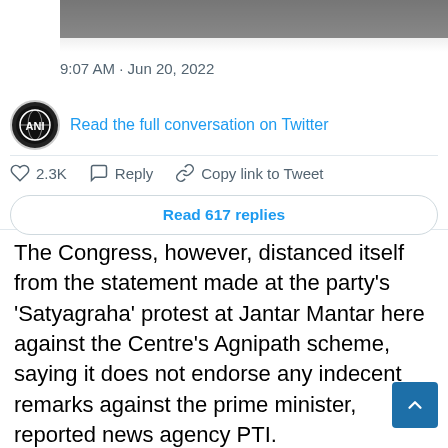[Figure (screenshot): Embedded tweet/Twitter screenshot showing timestamp 9:07 AM · Jun 20, 2022, ANI account link 'Read the full conversation on Twitter', like count 2.3K, Reply, Copy link to Tweet actions, and a 'Read 617 replies' button.]
The Congress, however, distanced itself from the statement made at the party's 'Satyagraha' protest at Jantar Mantar here against the Centre's Agnipath scheme, saying it does not endorse any indecent remarks against the prime minister, reported news agency PTI.
Congress party senior leaders and workers staged protests at several places in the national capital on Monday against ED's